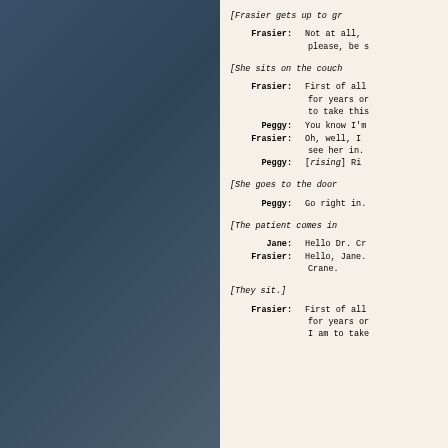[Frasier gets up to gr...
Frasier: Not at all, please, be s...
[She sits on the couch...
Frasier: First of all, for years or... to take this...
Peggy: You know I'm...
Frasier: Oh, well, I see her in.
Peggy: [rising] Ri...
[She goes to the door...
Peggy: Go right in.
[The patient comes in...
Jane: Hello Dr. Cr...
Frasier: Hello, Jane. Crane.
[They sit.]
Frasier: First of all, for years or... I am to take...